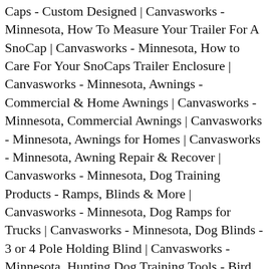Caps - Custom Designed | Canvasworks - Minnesota, How To Measure Your Trailer For A SnoCap | Canvasworks - Minnesota, How to Care For Your SnoCaps Trailer Enclosure | Canvasworks - Minnesota, Awnings - Commercial & Home Awnings | Canvasworks - Minnesota, Commercial Awnings | Canvasworks - Minnesota, Awnings for Homes | Canvasworks - Minnesota, Awning Repair & Recover | Canvasworks - Minnesota, Dog Training Products - Ramps, Blinds & More | Canvasworks - Minnesota, Dog Ramps for Trucks | Canvasworks - Minnesota, Dog Blinds - 3 or 4 Pole Holding Blind | Canvasworks - Minnesota, Hunting Dog Training Tools - Bird Bags & More | Canvasworks - Minnesota, Manufacturing & Prototyping | Canvasworks - Minnesota, Prototyping - Need Your Design Prototyped? Custom Covers & Canvas.